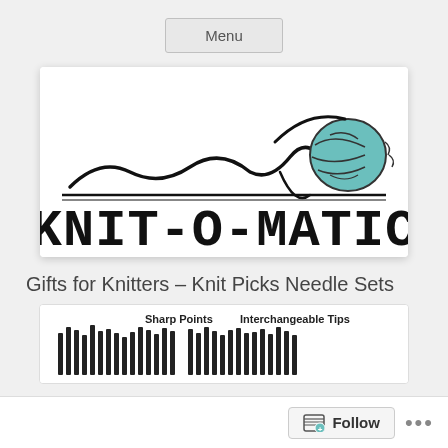Menu
[Figure (logo): Knit-O-Matic logo: stylized wavy line resembling knitting needles with a teal yarn ball, above the text KNIT-O-MATIC in bold serif letters]
Gifts for Knitters – Knit Picks Needle Sets
[Figure (illustration): Partial image of knitting needle sets labeled 'Sharp Points' and 'Interchangeable Tips' with needle silhouettes shown]
Follow